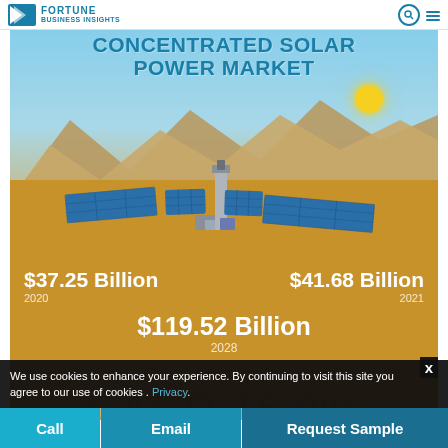Fortune Business Insights
[Figure (infographic): Concentrated Solar Power Market infographic showing a solar power plant in a desert landscape with mountains. Displays market size figures: $37.25 Billion (2020), $41.68 Billion (2021), $119.52 Billion (2028), and partially visible CAGR 16.9%.]
CONCENTRATED SOLAR POWER MARKET
$37.25 Billion 2020
$41.68 Billion 2021
$119.52 Billion 2028
We use cookies to enhance your experience. By continuing to visit this site you agree to our use of cookies . Privacy.
Call | Email | Request Sample